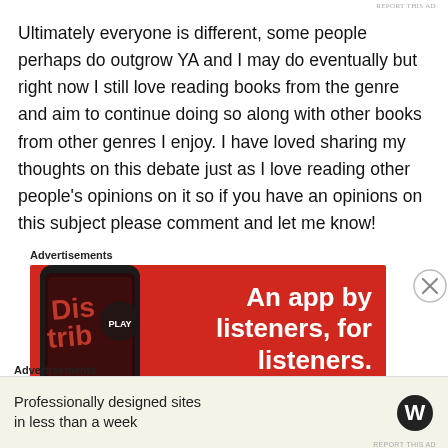REPORT THIS AD
Ultimately everyone is different, some people perhaps do outgrow YA and I may do eventually but right now I still love reading books from the genre and aim to continue doing so along with other books from other genres I enjoy. I have loved sharing my thoughts on this debate just as I love reading other people's opinions on it so if you have an opinions on this subject please comment and let me know!
Advertisements
[Figure (photo): Red advertisement banner for a podcast/audio app showing a smartphone with 'Distrib' text visible, and bold white text reading 'An app by listeners, for listeners.']
Advertisements
[Figure (infographic): WordPress advertisement: 'Professionally designed sites in less than a week' with WordPress logo]
REPORT THIS AD